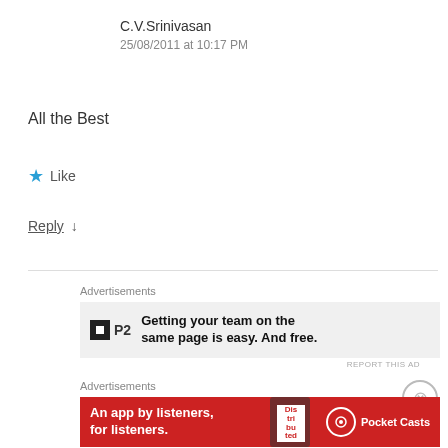C.V.Srinivasan
25/08/2011 at 10:17 PM
All the Best
★ Like
Reply ↓
Advertisements
[Figure (screenshot): P2 advertisement banner: Getting your team on the same page is easy. And free.]
REPORT THIS AD
Advertisements
[Figure (screenshot): Pocket Casts advertisement: An app by listeners, for listeners.]